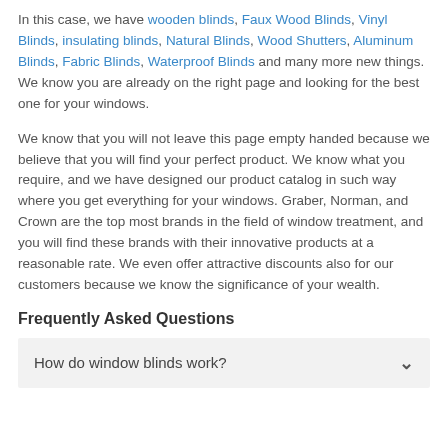In this case, we have wooden blinds, Faux Wood Blinds, Vinyl Blinds, insulating blinds, Natural Blinds, Wood Shutters, Aluminum Blinds, Fabric Blinds, Waterproof Blinds and many more new things. We know you are already on the right page and looking for the best one for your windows.
We know that you will not leave this page empty handed because we believe that you will find your perfect product. We know what you require, and we have designed our product catalog in such way where you get everything for your windows. Graber, Norman, and Crown are the top most brands in the field of window treatment, and you will find these brands with their innovative products at a reasonable rate. We even offer attractive discounts also for our customers because we know the significance of your wealth.
Frequently Asked Questions
How do window blinds work?